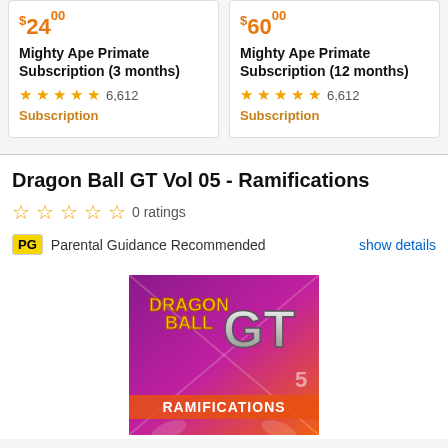$24.00 Mighty Ape Primate Subscription (3 months) — 6,612 ratings — Subscription
$60.00 Mighty Ape Primate Subscription (12 months) — 6,612 ratings — Subscription
Dragon Ball GT Vol 05 - Ramifications
0 ratings
PG Parental Guidance Recommended
show details
[Figure (photo): Dragon Ball GT Vol 05 - Ramifications anime DVD cover art showing the Dragon Ball GT logo and 'RAMIFICATIONS' text on a colorful illustrated background]